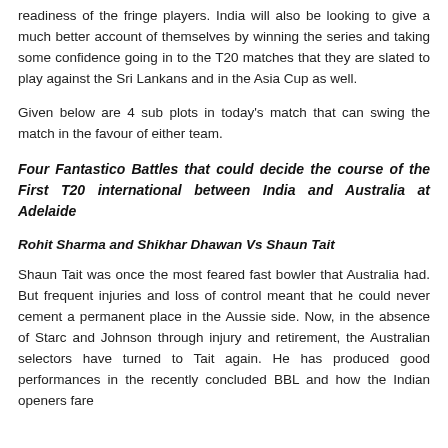readiness of the fringe players. India will also be looking to give a much better account of themselves by winning the series and taking some confidence going in to the T20 matches that they are slated to play against the Sri Lankans and in the Asia Cup as well.
Given below are 4 sub plots in today's match that can swing the match in the favour of either team.
Four Fantastico Battles that could decide the course of the First T20 international between India and Australia at Adelaide
Rohit Sharma and Shikhar Dhawan Vs Shaun Tait
Shaun Tait was once the most feared fast bowler that Australia had. But frequent injuries and loss of control meant that he could never cement a permanent place in the Aussie side. Now, in the absence of Starc and Johnson through injury and retirement, the Australian selectors have turned to Tait again. He has produced good performances in the recently concluded BBL and how the Indian openers fare